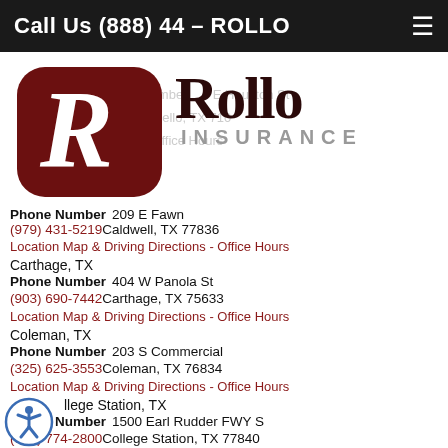Call Us (888) 44 – ROLLO
[Figure (logo): Rollo Insurance logo with dark red R icon and 'Rollo INSURANCE' text]
Phone Number   209 E Fawn
(979) 431-5219 Caldwell, TX 77836
Location Map & Driving Directions - Office Hours
Carthage, TX
Phone Number   404 W Panola St
(903) 690-7442 Carthage, TX 75633
Location Map & Driving Directions - Office Hours
Coleman, TX
Phone Number   203 S Commercial
(325) 625-3553 Coleman, TX 76834
Location Map & Driving Directions - Office Hours
College Station, TX
Phone Number   1500 Earl Rudder FWY S
(979) 774-2800 College Station, TX 77840